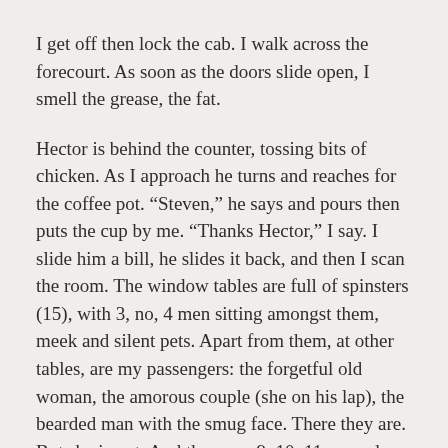I get off then lock the cab. I walk across the forecourt. As soon as the doors slide open, I smell the grease, the fat.
Hector is behind the counter, tossing bits of chicken. As I approach he turns and reaches for the coffee pot. “Steven,” he says and pours then puts the cup by me. “Thanks Hector,” I say. I slide him a bill, he slides it back, and then I scan the room. The window tables are full of spinsters (15), with 3, no, 4 men sitting amongst them, meek and silent pets. Apart from them, at other tables, are my passengers: the forgetful old woman, the amorous couple (she on his lap), the bearded man with the smug face. There they are. But she is not. And there are 9, 10, 11 seconds when I imagine her in the trunk of some man’s car. Darkness and the smell of oil. Her misery ending all wrong.